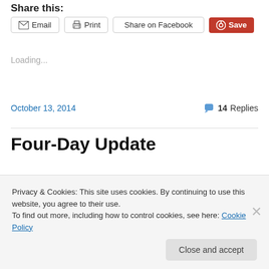Share this:
Email  Print  Share on Facebook  Save
Loading...
October 13, 2014   14 Replies
Four-Day Update
Privacy & Cookies: This site uses cookies. By continuing to use this website, you agree to their use. To find out more, including how to control cookies, see here: Cookie Policy
Close and accept